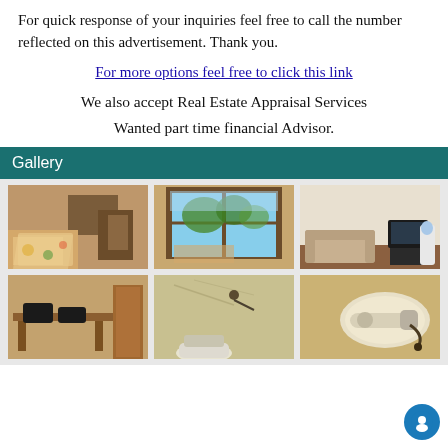For quick response of your inquiries feel free to call the number reflected on this advertisement. Thank you.
For more options feel free to click this link
We also accept Real Estate Appraisal Services
Wanted part time financial Advisor.
Gallery
[Figure (photo): Interior room with bed and floral bedding, wooden furniture]
[Figure (photo): Room with large window showing city/trees view, bed visible]
[Figure (photo): Living room with sofa, TV stand and water dispenser]
[Figure (photo): Office area with desk and chairs]
[Figure (photo): Bathroom with toilet and wet walls]
[Figure (photo): Close-up of what appears to be a massage chair or appliance]